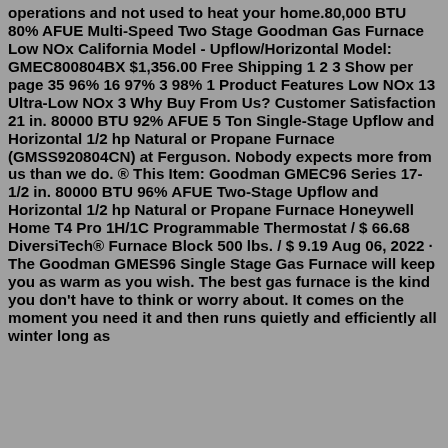operations and not used to heat your home.80,000 BTU 80% AFUE Multi-Speed Two Stage Goodman Gas Furnace Low NOx California Model - Upflow/Horizontal Model: GMEC800804BX $1,356.00 Free Shipping 1 2 3 Show per page 35 96% 16 97% 3 98% 1 Product Features Low NOx 13 Ultra-Low NOx 3 Why Buy From Us? Customer Satisfaction 21 in. 80000 BTU 92% AFUE 5 Ton Single-Stage Upflow and Horizontal 1/2 hp Natural or Propane Furnace (GMSS920804CN) at Ferguson. Nobody expects more from us than we do. ® This Item: Goodman GMEC96 Series 17-1/2 in. 80000 BTU 96% AFUE Two-Stage Upflow and Horizontal 1/2 hp Natural or Propane Furnace Honeywell Home T4 Pro 1H/1C Programmable Thermostat / $ 66.68 DiversiTech® Furnace Block 500 lbs. / $ 9.19 Aug 06, 2022 · The Goodman GMES96 Single Stage Gas Furnace will keep you as warm as you wish. The best gas furnace is the kind you don't have to think or worry about. It comes on the moment you need it and then runs quietly and efficiently all winter long as